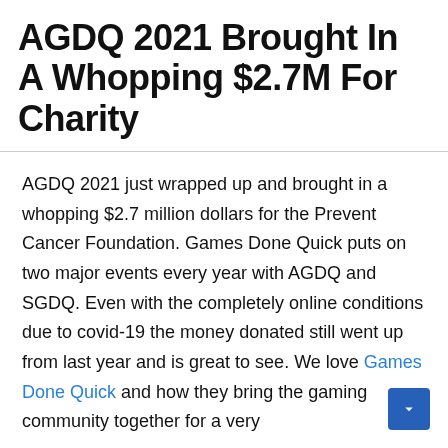AGDQ 2021 Brought In A Whopping $2.7M For Charity
AGDQ 2021 just wrapped up and brought in a whopping $2.7 million dollars for the Prevent Cancer Foundation. Games Done Quick puts on two major events every year with AGDQ and SGDQ. Even with the completely online conditions due to covid-19 the money donated still went up from last year and is great to see. We love Games Done Quick and how they bring the gaming community together for a very